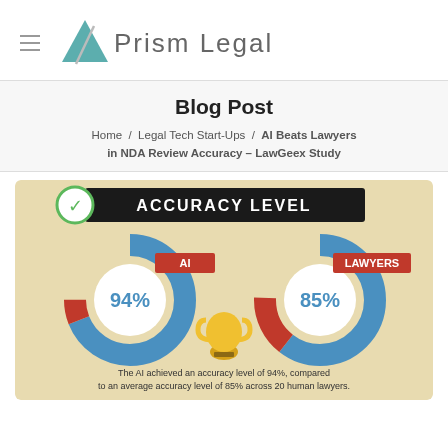[Figure (logo): Prism Legal logo with teal triangle and hamburger menu icon]
Blog Post
Home / Legal Tech Start-Ups / AI Beats Lawyers in NDA Review Accuracy – LawGeex Study
[Figure (infographic): Accuracy Level infographic showing AI at 94% accuracy vs Lawyers at 85% accuracy, with two donut charts. Caption: The AI achieved an accuracy level of 94%, compared to an average accuracy level of 85% across 20 human lawyers.]